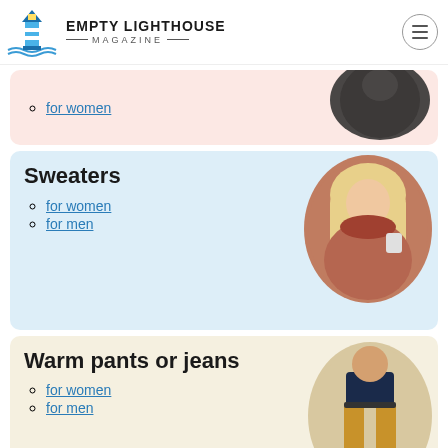Empty Lighthouse Magazine
for women
Sweaters
for women
for men
Warm pants or jeans
for women
for men